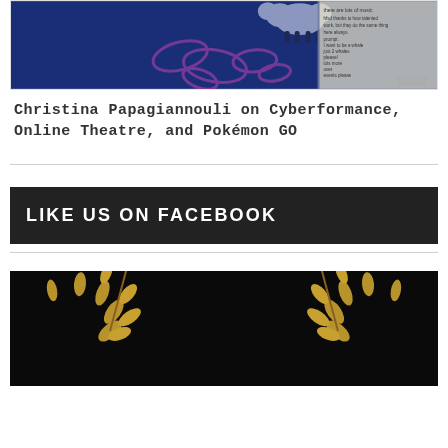[Figure (screenshot): Screenshot of a website page showing a blue background with pink fish shapes and a white sheep silhouette, with text overlay on the right side.]
Christina Papagiannouli on Cyberformance, Online Theatre, and Pokémon GO
LIKE US ON FACEBOOK
[Figure (illustration): Dark black background with two golden laurel wreath branches facing each other, partially visible at the bottom of the page.]